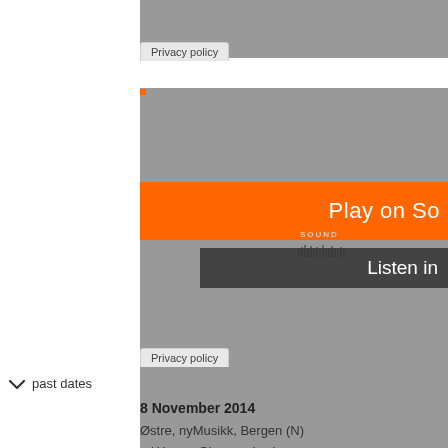[Figure (screenshot): Embedded audio player widget with gray background, orange Play on SoundCloud button, and Listen in app button]
Privacy policy
Privacy policy
past dates
8 November 2014
Østre, nyMusikk, Bergen (N)
w/ Hanna Gjermundrød
26 October 2014
Villa Stenersen, Oslo (N)
w/ Hanna Gjermundrød
8 October 2014
ISCM World Music Days, Wrocław (PL)
The Church of Divine Providence